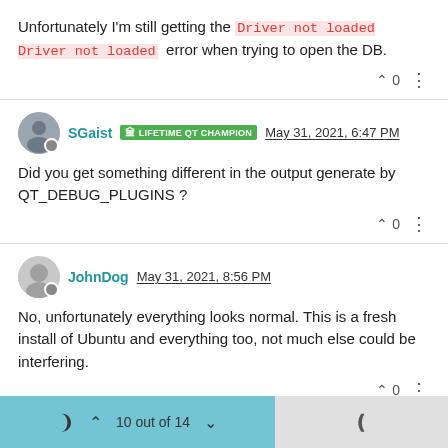Unfortunately I'm still getting the Driver not loaded Driver not loaded error when trying to open the DB.
SGaist LIFETIME QT CHAMPION May 31, 2021, 6:47 PM
Did you get something different in the output generate by QT_DEBUG_PLUGINS ?
JohnDog May 31, 2021, 8:56 PM
No, unfortunately everything looks normal. This is a fresh install of Ubuntu and everything too, not much else could be interfering.
10 out of 14